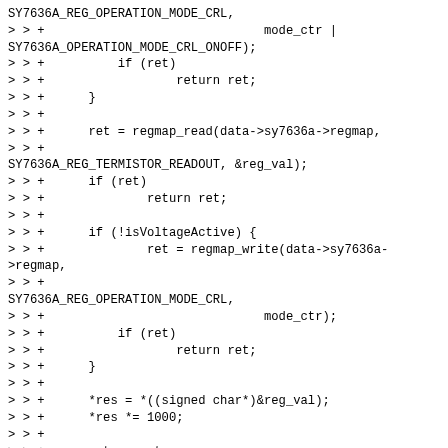SY7636A_REG_OPERATION_MODE_CRL,
> > +                              mode_ctr |
SY7636A_OPERATION_MODE_CRL_ONOFF);
> > +          if (ret)
> > +                  return ret;
> > +      }
> > +
> > +      ret = regmap_read(data->sy7636a->regmap,
> > +
SY7636A_REG_TERMISTOR_READOUT, &reg_val);
> > +      if (ret)
> > +              return ret;
> > +
> > +      if (!isVoltageActive) {
> > +              ret = regmap_write(data->sy7636a->regmap,
> > +
SY7636A_REG_OPERATION_MODE_CRL,
> > +                              mode_ctr);
> > +          if (ret)
> > +                  return ret;
> > +      }
> > +
> > +      *res = *((signed char*)&reg_val);
> > +      *res *= 1000;
> > +
> > +      return ret;
> > +}
> > +
> > +static const struct thermal_zone_of_device_ops ops